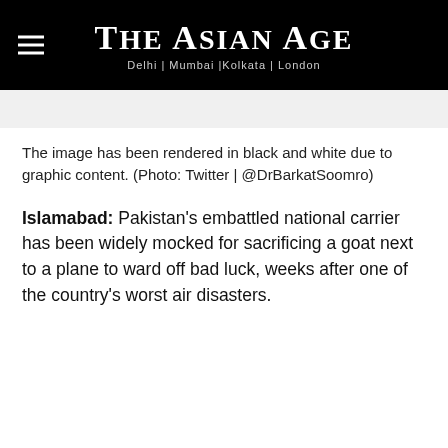THE ASIAN AGE | Delhi | Mumbai |Kolkata | London
The image has been rendered in black and white due to graphic content. (Photo: Twitter | @DrBarkatSoomro)
Islamabad: Pakistan's embattled national carrier has been widely mocked for sacrificing a goat next to a plane to ward off bad luck, weeks after one of the country's worst air disasters.